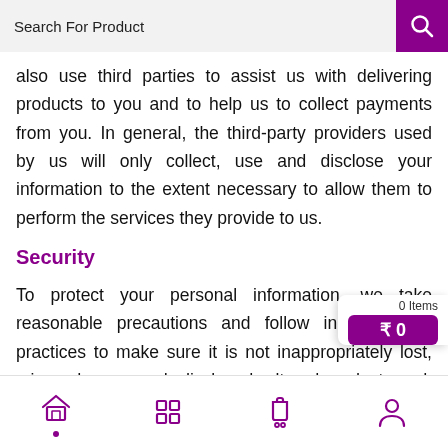Search For Product
also use third parties to assist us with delivering products to you and to help us to collect payments from you. In general, the third-party providers used by us will only collect, use and disclose your information to the extent necessary to allow them to perform the services they provide to us.
Security
To protect your personal information, we take reasonable precautions and follow industry best practices to make sure it is not inappropriately lost, misused, accessed, disclosed, altered or destroyed. If you provide us with your credit card information, the information is encrypted using
Home | Categories | Cart | Account